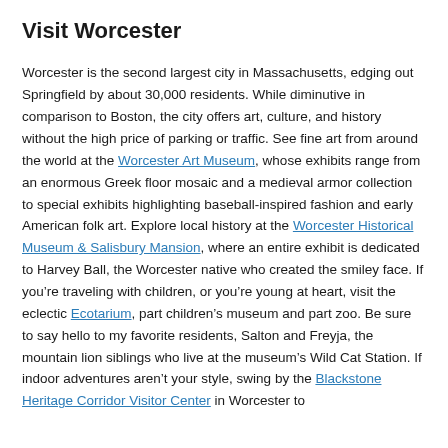Visit Worcester
Worcester is the second largest city in Massachusetts, edging out Springfield by about 30,000 residents. While diminutive in comparison to Boston, the city offers art, culture, and history without the high price of parking or traffic. See fine art from around the world at the Worcester Art Museum, whose exhibits range from an enormous Greek floor mosaic and a medieval armor collection to special exhibits highlighting baseball-inspired fashion and early American folk art. Explore local history at the Worcester Historical Museum & Salisbury Mansion, where an entire exhibit is dedicated to Harvey Ball, the Worcester native who created the smiley face. If you’re traveling with children, or you’re young at heart, visit the eclectic Ecotarium, part children’s museum and part zoo. Be sure to say hello to my favorite residents, Salton and Freyja, the mountain lion siblings who live at the museum’s Wild Cat Station. If indoor adventures aren’t your style, swing by the Blackstone Heritage Corridor Visitor Center in Worcester to